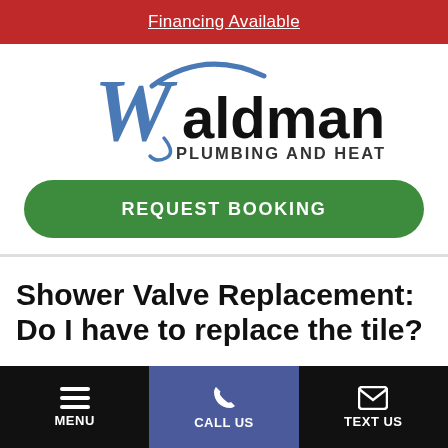Financing Available
[Figure (logo): Waldman Plumbing and Heating, Inc. logo with stylized blue W and cursive/sans-serif lettering]
REQUEST BOOKING
Shower Valve Replacement: Do I have to replace the tile?
MENU | CALL US | TEXT US